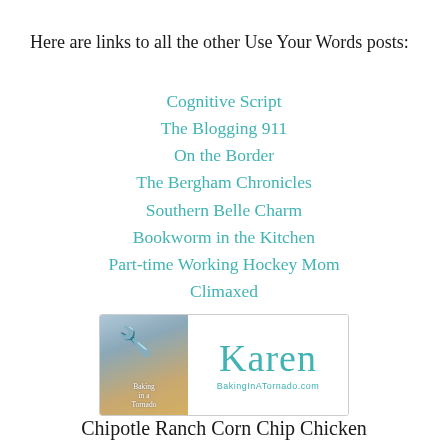Here are links to all the other Use Your Words posts:
Cognitive Script
The Blogging 911
On the Border
The Bergham Chronicles
Southern Belle Charm
Bookworm in the Kitchen
Part-time Working Hockey Mom
Climaxed
[Figure (logo): BakingInATornado.com signature block with drill graphic on the left, handwritten Karen signature and URL on the right]
Chipotle Ranch Corn Chip Chicken